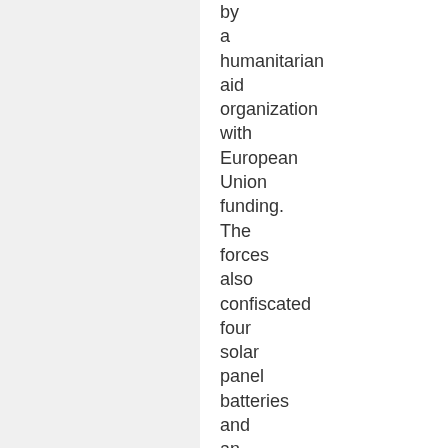by a humanitarian aid organization with European Union funding. The forces also confiscated four solar panel batteries and an electrical box donated to